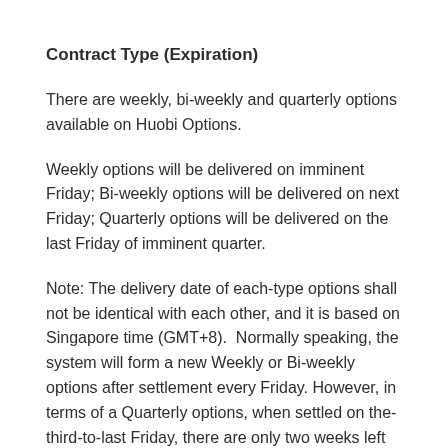Contract Type (Expiration)
There are weekly, bi-weekly and quarterly options available on Huobi Options.
Weekly options will be delivered on imminent Friday; Bi-weekly options will be delivered on next Friday; Quarterly options will be delivered on the last Friday of imminent quarter.
Note: The delivery date of each-type options shall not be identical with each other, and it is based on Singapore time (GMT+8). Normally speaking, the system will form a new Weekly or Bi-weekly options after settlement every Friday. However, in terms of a Quarterly options, when settled on the-third-to-last Friday, there are only two weeks left before the expiration, in other words, the Quarterly options turns into a Bi-weekly one, meanwhile, if it forms a new bi-weekly